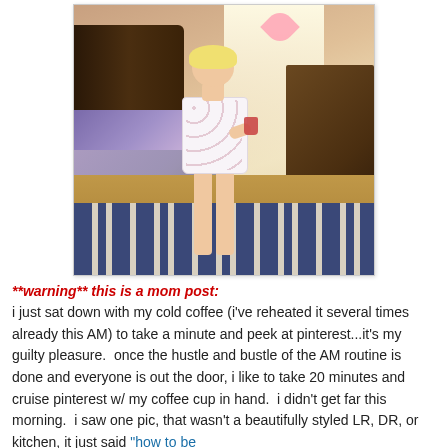[Figure (photo): A young blonde child in a white sleeveless outfit standing in a bedroom next to a bed with colorful pillows. The room has a striped rug on a wood floor, a dark wood headboard, and furniture visible on the right. Pink decorations hang near the ceiling.]
**warning** this is a mom post: i just sat down with my cold coffee (i've reheated it several times already this AM) to take a minute and peek at pinterest...it's my guilty pleasure.  once the hustle and bustle of the AM routine is done and everyone is out the door, i like to take 20 minutes and cruise pinterest w/ my coffee cup in hand.  i didn't get far this morning.  i saw one pic, that wasn't a beautifully styled LR, DR, or kitchen, it just said "how to be